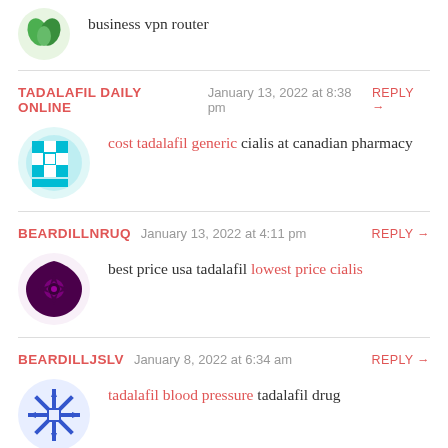business vpn router
TADALAFIL DAILY ONLINE  January 13, 2022 at 8:38 pm  REPLY →
cost tadalafil generic cialis at canadian pharmacy
BEARDILLNRUQ  January 13, 2022 at 4:11 pm  REPLY →
best price usa tadalafil lowest price cialis
BEARDILLJSLV  January 8, 2022 at 6:34 am  REPLY →
tadalafil blood pressure tadalafil drug